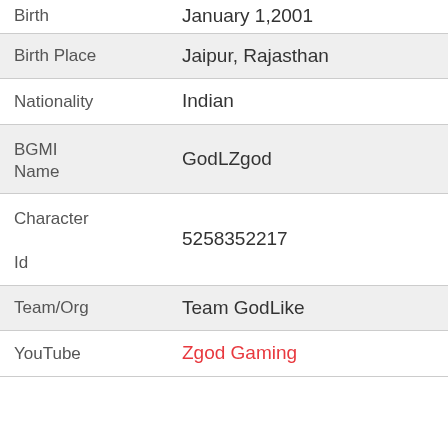| Field | Value |
| --- | --- |
| Birth | January 1, 2001 |
| Birth Place | Jaipur, Rajasthan |
| Nationality | Indian |
| BGMI Name | GodLZgod |
| Character Id | 5258352217 |
| Team/Org | Team GodLike |
| YouTube | Zgod Gaming |